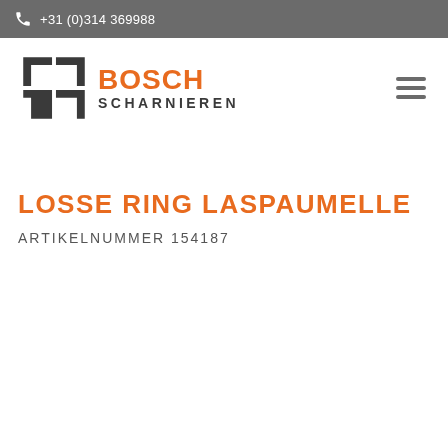+31 (0)314 369988
[Figure (logo): BS Bosch Scharnieren logo with stylized BS icon and orange BOSCH text with dark SCHARNIEREN text]
LOSSE RING LASPAUMELLE
ARTIKELNUMMER 154187